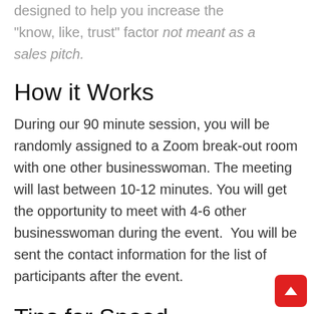designed to help you increase the "know, like, trust" factor not meant as a sales pitch.
How it Works
During our 90 minute session, you will be randomly assigned to a Zoom break-out room with one other businesswoman. The meeting will last between 10-12 minutes. You will get the opportunity to meet with 4-6 other businesswoman during the event.  You will be sent the contact information for the list of participants after the event.
Tips for Speed Networking